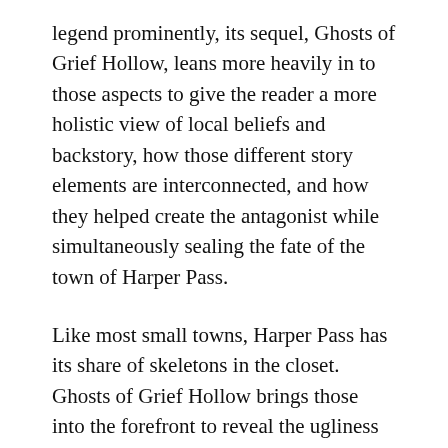legend prominently, its sequel, Ghosts of Grief Hollow, leans more heavily in to those aspects to give the reader a more holistic view of local beliefs and backstory, how those different story elements are interconnected, and how they helped create the antagonist while simultaneously sealing the fate of the town of Harper Pass.
Like most small towns, Harper Pass has its share of skeletons in the closet. Ghosts of Grief Hollow brings those into the forefront to reveal the ugliness that can exist in humans as well as in monsters of a more fantastical variety.